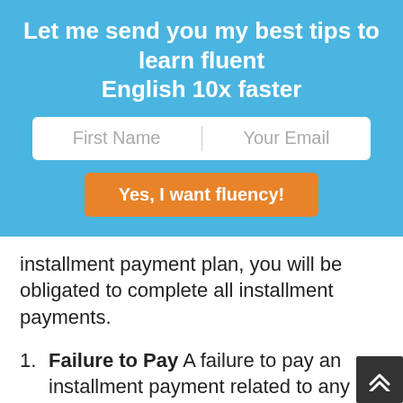Let me send you my best tips to learn fluent English 10x faster
[Figure (infographic): Web form with First Name and Your Email input fields and an orange CTA button labeled 'Yes, I want fluency!']
installment payment plan, you will be obligated to complete all installment payments.
Failure to Pay A failure to pay an installment payment related to any of the Services may result in the immediate suspension or termination of all Services. Upon suspension or termination, you will no longer be able